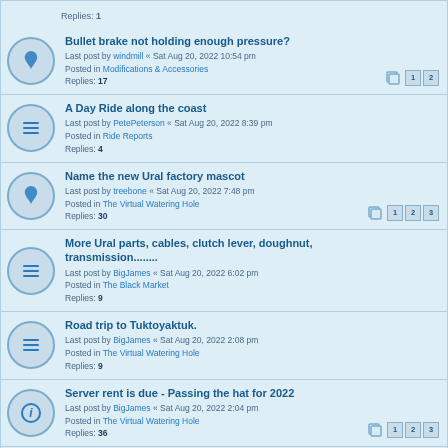Replies: 1
Bullet brake not holding enough pressure? Last post by windmill « Sat Aug 20, 2022 10:54 pm Posted in Modifications & Accessories Replies: 17
A Day Ride along the coast Last post by PetePeterson « Sat Aug 20, 2022 8:39 pm Posted in Ride Reports Replies: 4
Name the new Ural factory mascot Last post by treebone « Sat Aug 20, 2022 7:48 pm Posted in The Virtual Watering Hole Replies: 30
More Ural parts, cables, clutch lever, doughnut, transmission........ Last post by BigJames « Sat Aug 20, 2022 6:02 pm Posted in The Black Market Replies: 9
Road trip to Tuktoyaktuk. Last post by BigJames « Sat Aug 20, 2022 2:08 pm Posted in The Virtual Watering Hole Replies: 9
Server rent is due - Passing the hat for 2022 Last post by BigJames « Sat Aug 20, 2022 2:04 pm Posted in The Virtual Watering Hole Replies: 36
Question about E Brake removal Last post by Lofty « Sat Aug 20, 2022 1:16 pm